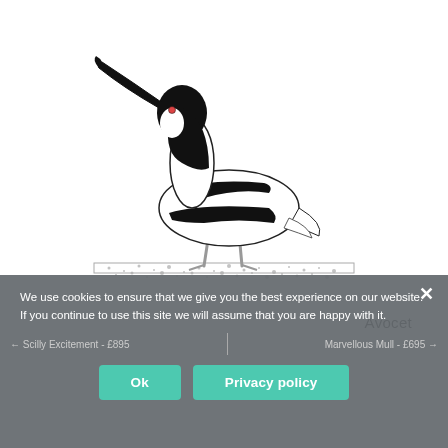[Figure (illustration): Black and white illustration of an Avocet bird standing on sandy/pebbly ground. The bird has distinctive black and white plumage with a long upward-curved beak, long grey legs, and bold black wing stripes.]
Avocet
We use cookies to ensure that we give you the best experience on our website. If you continue to use this site we will assume that you are happy with it.
← Scilly Excitement - £895    Marvellous Mull - £695 →
Ok
Privacy policy